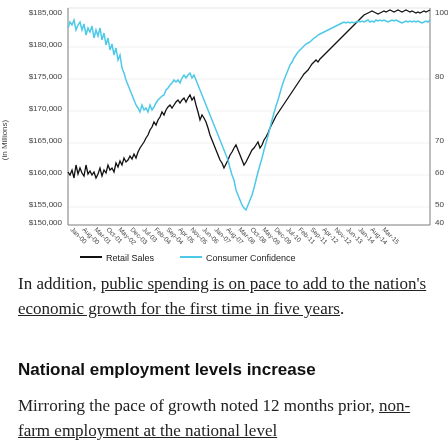[Figure (line-chart): Dual-axis line chart showing Retail Sales (in Millions, left axis $150,000-$185,000) and Consumer Confidence (right axis 40-100) from Jan-00 to Mar-15. Retail Sales trend upward overall with a dip around 2008-2009. Consumer Confidence rises from ~90 in 2000, dips sharply to ~25 around 2009, then recovers to ~95 by 2015.]
— Retail Sales   — Consumer Confidence
In addition, public spending is on pace to add to the nation's economic growth for the first time in five years.
National employment levels increase
Mirroring the pace of growth noted 12 months prior, non-farm employment at the national level